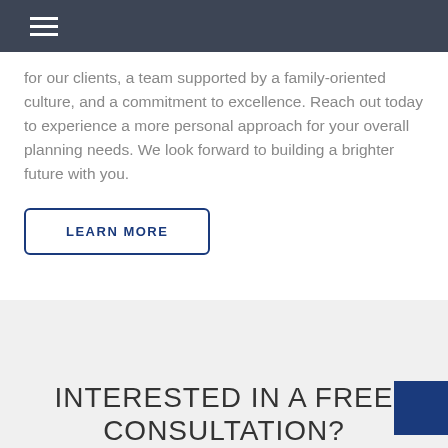for our clients, a team supported by a family-oriented culture, and a commitment to excellence. Reach out today to experience a more personal approach for your overall planning needs. We look forward to building a brighter future with you.
LEARN MORE
INTERESTED IN A FREE CONSULTATION?